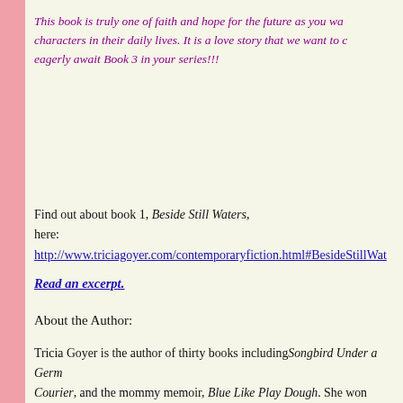This book is truly one of faith and hope for the future as you wa... characters in their daily lives. It is a love story that we want to c... eagerly await Book 3 in your series!!!
Find out about book 1, Beside Still Waters, here: http://www.triciagoyer.com/contemporaryfiction.html#BesideStillWat...
Read an excerpt.
About the Author:
Tricia Goyer is the author of thirty books including Songbird Under a Germ... Courier, and the mommy memoir, Blue Like Play Dough. She won Histori... and 2006 from ACFW, and was honored with the Writer of the Year award f... Conference in 2003. Tricia's book Life Interrupted was a finalist for the Gol... addition to her novels, Tricia writes non-fiction books and magazine artic...